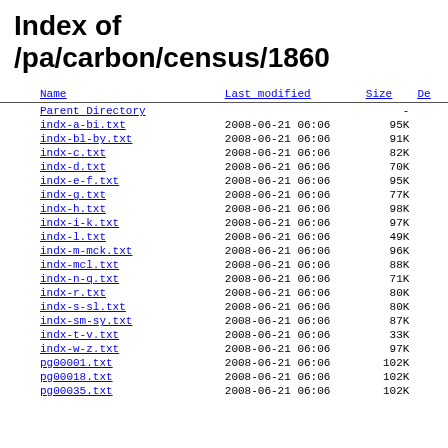Index of /pa/carbon/census/1860
| Name | Last modified | Size | De |
| --- | --- | --- | --- |
| Parent Directory |  | - |  |
| indx-a-bi.txt | 2008-06-21 06:06 | 95K |  |
| indx-bl-by.txt | 2008-06-21 06:06 | 91K |  |
| indx-c.txt | 2008-06-21 06:06 | 82K |  |
| indx-d.txt | 2008-06-21 06:06 | 70K |  |
| indx-e-f.txt | 2008-06-21 06:06 | 95K |  |
| indx-g.txt | 2008-06-21 06:06 | 77K |  |
| indx-h.txt | 2008-06-21 06:06 | 98K |  |
| indx-i-k.txt | 2008-06-21 06:06 | 97K |  |
| indx-l.txt | 2008-06-21 06:06 | 49K |  |
| indx-m-mck.txt | 2008-06-21 06:06 | 96K |  |
| indx-mcl.txt | 2008-06-21 06:06 | 88K |  |
| indx-n-q.txt | 2008-06-21 06:06 | 71K |  |
| indx-r.txt | 2008-06-21 06:06 | 80K |  |
| indx-s-sl.txt | 2008-06-21 06:06 | 80K |  |
| indx-sm-sy.txt | 2008-06-21 06:06 | 87K |  |
| indx-t-v.txt | 2008-06-21 06:06 | 33K |  |
| indx-w-z.txt | 2008-06-21 06:06 | 97K |  |
| pg00001.txt | 2008-06-21 06:06 | 102K |  |
| pg00018.txt | 2008-06-21 06:06 | 102K |  |
| pg00035.txt | 2008-06-21 06:06 | 102K |  |